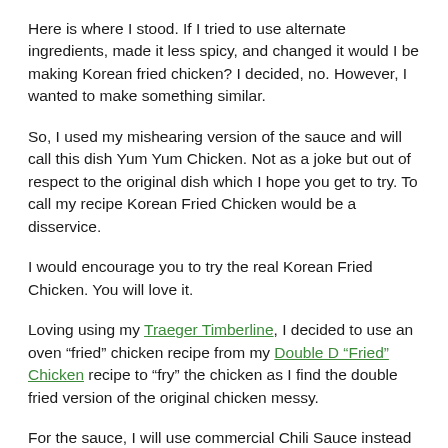Here is where I stood. If I tried to use alternate ingredients, made it less spicy, and changed it would I be making Korean fried chicken? I decided, no. However, I wanted to make something similar.
So, I used my mishearing version of the sauce and will call this dish Yum Yum Chicken. Not as a joke but out of respect to the original dish which I hope you get to try. To call my recipe Korean Fried Chicken would be a disservice.
I would encourage you to try the real Korean Fried Chicken. You will love it.
Loving using my Traeger Timberline, I decided to use an oven “fried” chicken recipe from my Double D “Fried” Chicken recipe to “fry” the chicken as I find the double fried version of the original chicken messy.
For the sauce, I will use commercial Chili Sauce instead of the